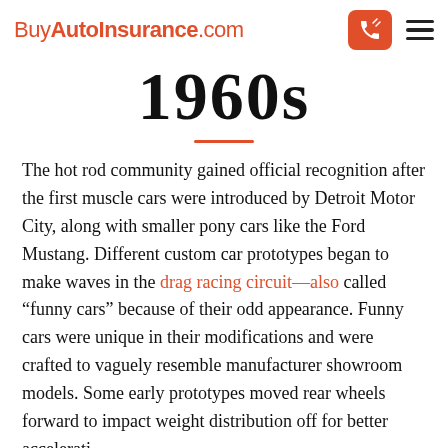BuyAutoInsurance.com
1960s
The hot rod community gained official recognition after the first muscle cars were introduced by Detroit Motor City, along with smaller pony cars like the Ford Mustang. Different custom car prototypes began to make waves in the drag racing circuit—also called “funny cars” because of their odd appearance. Funny cars were unique in their modifications and were crafted to vaguely resemble manufacturer showroom models. Some early prototypes moved rear wheels forward to impact weight distribution off for better acceleration